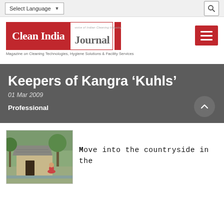Select Language  [dropdown]  [search icon]
[Figure (logo): Clean India Journal logo — red block with 'Clean India' text in white, grey 'Journal' text, red vertical bar, tagline: Magazine on Cleaning Technologies, Hygiene Solutions & Facility Services. Red hamburger menu icon top right.]
Keepers of Kangra ‘Kuhls’
01 Mar 2009
Professional
[Figure (photo): Outdoor photo of a small stone-roofed hut or water channel structure with a person crouching near it, surrounded by trees and greenery.]
Move into the countryside in the